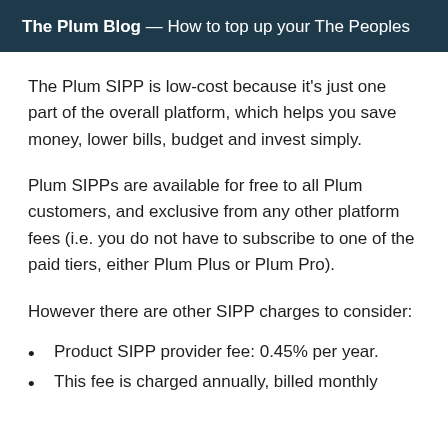The Plum Blog — How to top up your The Peoples
The Plum SIPP is low-cost because it's just one part of the overall platform, which helps you save money, lower bills, budget and invest simply.
Plum SIPPs are available for free to all Plum customers, and exclusive from any other platform fees (i.e. you do not have to subscribe to one of the paid tiers, either Plum Plus or Plum Pro).
However there are other SIPP charges to consider:
Product SIPP provider fee: 0.45% per year.
This fee is charged annually, billed monthly